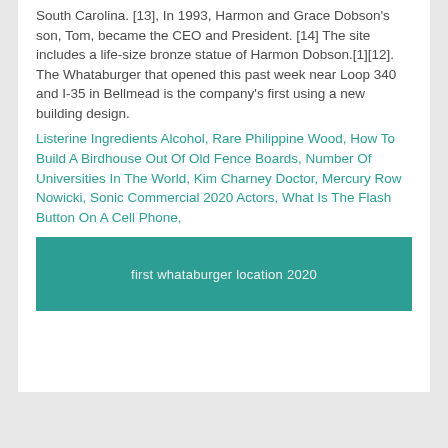South Carolina. [13], In 1993, Harmon and Grace Dobson's son, Tom, became the CEO and President. [14] The site includes a life-size bronze statue of Harmon Dobson.[1][12]. The Whataburger that opened this past week near Loop 340 and I-35 in Bellmead is the company's first using a new building design.
Listerine Ingredients Alcohol, Rare Philippine Wood, How To Build A Birdhouse Out Of Old Fence Boards, Number Of Universities In The World, Kim Charney Doctor, Mercury Row Nowicki, Sonic Commercial 2020 Actors, What Is The Flash Button On A Cell Phone,
first whataburger location 2020